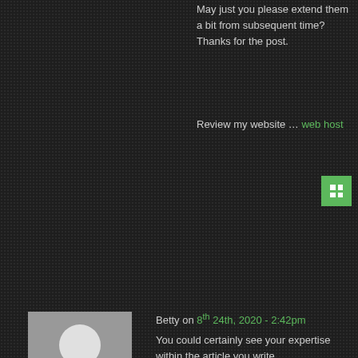May just you please extend them a bit from subsequent time?
Thanks for the post.
Review my website … web host
Betty on 8th 24th, 2020 - 2:42pm
You could certainly see your expertise within the article you write.
The arena hopes for more passionate writers like you who are not afraid to mention how they believe.
All the time follow your heart.
My site :: cheap flights